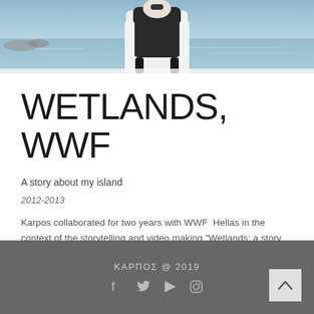[Figure (photo): Photograph of a person from behind, wearing a white shirt and dark backpack, standing near water/sea, cropped at the top of the page]
WETLANDS, WWF
A story about my island
2012-2013
Karpos collaborated for two years with WWF  Hellas in the context of the storytelling and video making "Wetlands: a story about my island" addressed to the schools of  Lesvos and  Paros.
ΚΑΡΠΟΣ @ 2019